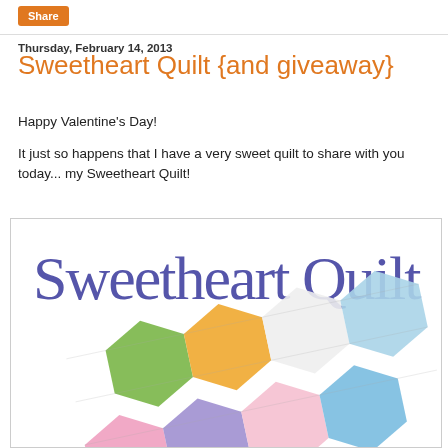Share
Thursday, February 14, 2013
Sweetheart Quilt {and giveaway}
Happy Valentine's Day!
It just so happens that I have a very sweet quilt to share with you today... my Sweetheart Quilt!
[Figure (photo): Image showing cursive 'Sweetheart Quilt' text in purple with a hexagon patchwork quilt featuring colorful fabric patches in green, orange/yellow, pink, purple, blue, and white with quilting lines.]